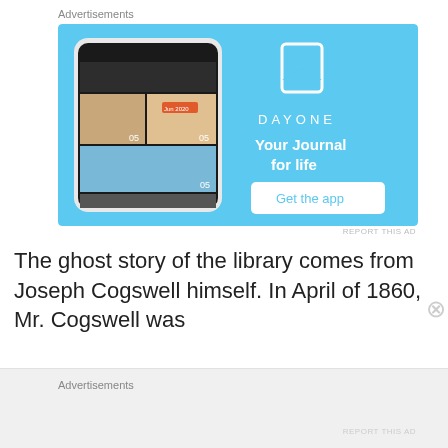Advertisements
[Figure (screenshot): DayOne app advertisement. Light blue background with a smartphone showing a journal app on the left. Right side shows a bookmark icon, DAYONE text, 'Your Journal for life' heading, and a 'Get the app' button.]
REPORT THIS AD
The ghost story of the library comes from Joseph Cogswell himself. In April of 1860, Mr. Cogswell was
Advertisements
REPORT THIS AD